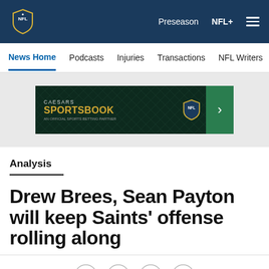NFL — Preseason  NFL+  Menu
News Home  Podcasts  Injuries  Transactions  NFL Writers  Se
[Figure (other): Caesars Sportsbook advertisement banner with NFL logo and green arrow button]
Analysis
Drew Brees, Sean Payton will keep Saints' offense rolling along
[Figure (other): Social sharing icons: Facebook, Twitter, Email, Link]